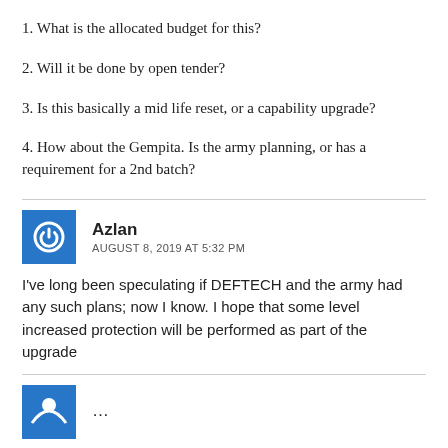1. What is the allocated budget for this?
2. Will it be done by open tender?
3. Is this basically a mid life reset, or a capability upgrade?
4. How about the Gempita. Is the army planning, or has a requirement for a 2nd batch?
Azlan
AUGUST 8, 2019 AT 5:32 PM
I've long been speculating if DEFTECH and the army had any such plans; now I know. I hope that some level increased protection will be performed as part of the upgrade
...